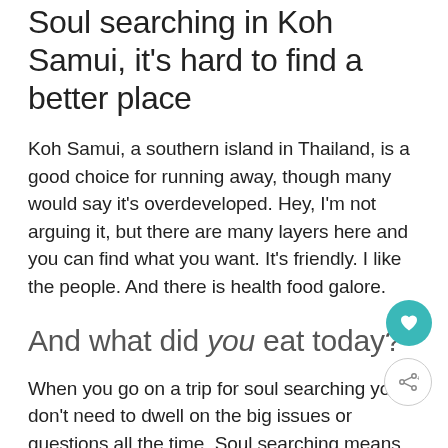Soul searching in Koh Samui, it's hard to find a better place
Koh Samui, a southern island in Thailand, is a good choice for running away, though many would say it's overdeveloped. Hey, I'm not arguing it, but there are many layers here and you can find what you want. It's friendly. I like the people. And there is health food galore.
And what did you eat today?
When you go on a trip for soul searching you don't need to dwell on the big issues or questions all the time. Soul searching means concentrating on the simple things, in hopes that the big questions will sort themselves out when you can get yourself into a calm state of